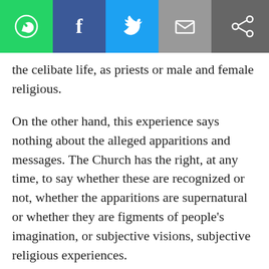[Figure (other): Social sharing toolbar with WhatsApp, Facebook, Twitter, email, and generic share icons]
the celibate life, as priests or male and female religious.
On the other hand, this experience says nothing about the alleged apparitions and messages. The Church has the right, at any time, to say whether these are recognized or not, whether the apparitions are supernatural or whether they are figments of people's imagination, or subjective visions, subjective religious experiences.
Even if the Church were to recognize these phenomena as supernatural, a single Christian is not bound to believe in them and treat them as an article of faith which leads to salvation. Christians are not obliged to recognize them. An individual Christian remains free. Jesus Christ is the foundation of Revelation for us, and this is the measure of